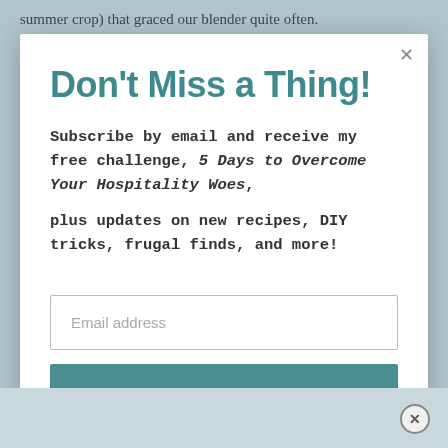summer crop) that graced our blender quite often.
Don't Miss a Thing!
Subscribe by email and receive my free challenge, 5 Days to Overcome Your Hospitality Woes, plus updates on new recipes, DIY tricks, frugal finds, and more!
Email address
SUBSCRIBE